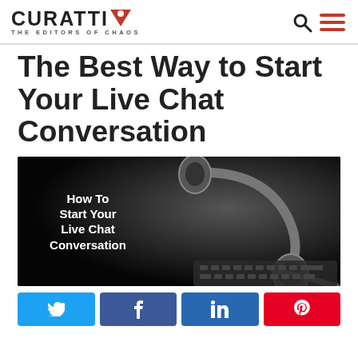CURATTI — THE EDITORS OF CHAOS
The Best Way to Start Your Live Chat Conversation
[Figure (photo): Black and white photo of a headset/microphone on a keyboard with white bold text overlay reading 'How To Start Your Live Chat Conversation']
Social share buttons: Twitter, Facebook, LinkedIn, Pinterest